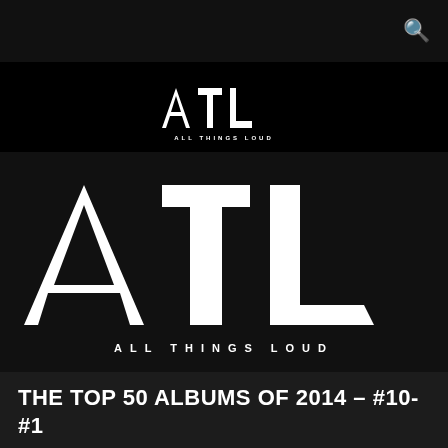[Figure (logo): ATL All Things Loud small logo in white on black header band]
[Figure (logo): ATL All Things Loud large logo in white on dark background, with tagline ALL THINGS LOUD below]
THE TOP 50 ALBUMS OF 2014 – #10-#1
JACK PARKER x DECEMBER 18, 2014